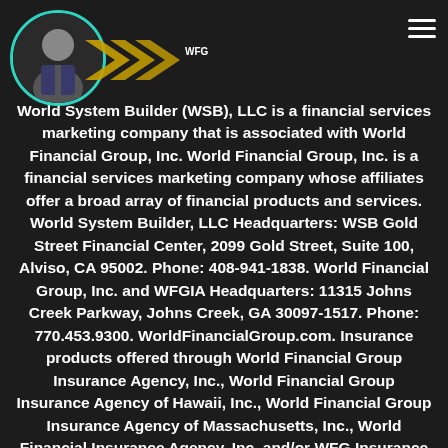[Figure (illustration): Profile avatar of a man in a suit inside a teal circular border, with WFG logo arrows overlapping on the right side of the avatar]
World System Builder (WSB), LLC is a financial services marketing company that is associated with World Financial Group, Inc. World Financial Group, Inc. is a financial services marketing company whose affiliates offer a broad array of financial products and services. World System Builder, LLC Headquarters: WSB Gold Street Financial Center, 2099 Gold Street, Suite 100, Alviso, CA 95002. Phone: 408-941-1838. World Financial Group, Inc. and WFGIA Headquarters: 11315 Johns Creek Parkway, Johns Creek, GA 30097-1517. Phone: 770.453.9300. WorldFinancialGroup.com. Insurance products offered through World Financial Group Insurance Agency, Inc., World Financial Group Insurance Agency of Hawaii, Inc., World Financial Group Insurance Agency of Massachusetts, Inc., World Financial Insurance Agency, Inc. and/or WFG Insurance Agency of Puerto Rico, Inc. - collectively WFGIA. California License #0679300